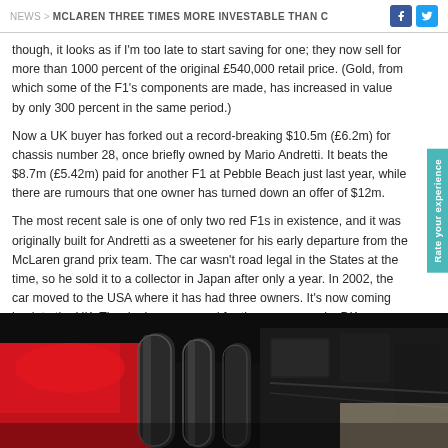NEWS > MCLAREN THREE TIMES MORE INVESTABLE THAN C
though, it looks as if I'm too late to start saving for one; they now sell for more than 1000 percent of the original £540,000 retail price. (Gold, from which some of the F1's components are made, has increased in value by only 300 percent in the same period.)
Now a UK buyer has forked out a record-breaking $10.5m (£6.2m) for chassis number 28, once briefly owned by Mario Andretti. It beats the $8.7m (£5.42m) paid for another F1 at Pebble Beach just last year, while there are rumours that one owner has turned down an offer of $12m.
The most recent sale is one of only two red F1s in existence, and it was originally built for Andretti as a sweetener for his early departure from the McLaren grand prix team. The car wasn't road legal in the States at the time, so he sold it to a collector in Japan after only a year. In 2002, the car moved to the USA where it has had three owners. It's now coming back to the UK. The deal was secured for the new owner by DK Engineering, the same company that found two Ferrari F40s for us to use as pace cars at the 72nd Members' Meeting.
[Figure (photo): Close-up photo of a red McLaren F1 engine bay showing carbon fiber exhaust pipes and mechanical components against a dark background]